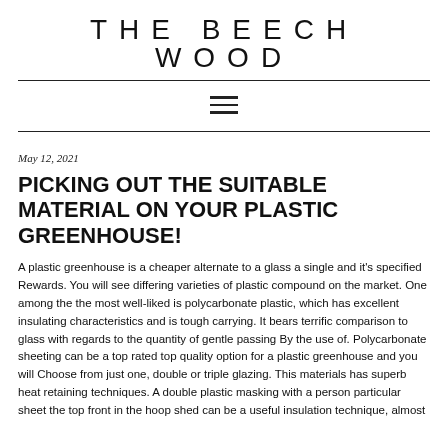THE BEECH WOOD
May 12, 2021
PICKING OUT THE SUITABLE MATERIAL ON YOUR PLASTIC GREENHOUSE!
A plastic greenhouse is a cheaper alternate to a glass a single and it's specified Rewards. You will see differing varieties of plastic compound on the market. One among the the most well-liked is polycarbonate plastic, which has excellent insulating characteristics and is tough carrying. It bears terrific comparison to glass with regards to the quantity of gentle passing By the use of. Polycarbonate sheeting can be a top rated top quality option for a plastic greenhouse and you will Choose from just one, double or triple glazing. This materials has superb heat retaining techniques. A double plastic masking with a person particular sheet the top front in the hoop shed can be a useful insulation technique, almost…